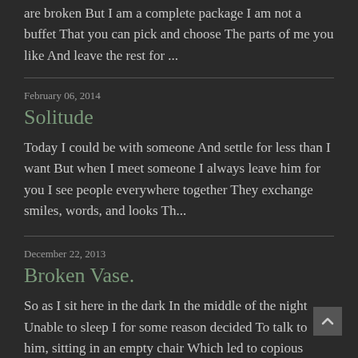are broken But I am a complete package I am not a buffet That you can pick and choose The parts of me you like And leave the rest for ...
February 06, 2014
Solitude
Today I could be with someone And settle for less than I want But when I meet someone I always leave him for you I see people everywhere together They exchange smiles, words, and looks Th...
December 22, 2013
Broken Vase.
So as I sit here in the dark In the middle of the night Unable to sleep I for some reason decided To talk to him, sitting in an empty chair Which led to copious amounts of tears I could h...